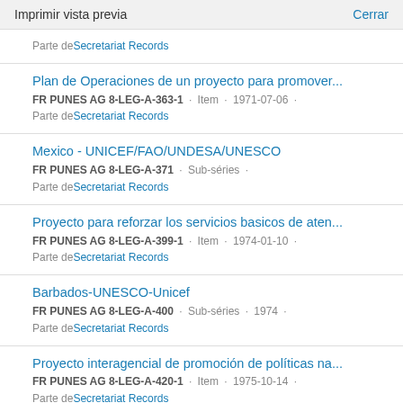Imprimir vista previa    Cerrar
Parte de Secretariat Records
Plan de Operaciones de un proyecto para promover...
FR PUNES AG 8-LEG-A-363-1 · Item · 1971-07-06 ·
Parte de Secretariat Records
Mexico - UNICEF/FAO/UNDESA/UNESCO
FR PUNES AG 8-LEG-A-371 · Sub-séries ·
Parte de Secretariat Records
Proyecto para reforzar los servicios basicos de aten...
FR PUNES AG 8-LEG-A-399-1 · Item · 1974-01-10 ·
Parte de Secretariat Records
Barbados-UNESCO-Unicef
FR PUNES AG 8-LEG-A-400 · Sub-séries · 1974 ·
Parte de Secretariat Records
Proyecto interagencial de promoción de políticas na...
FR PUNES AG 8-LEG-A-420-1 · Item · 1975-10-14 ·
Parte de Secretariat Records